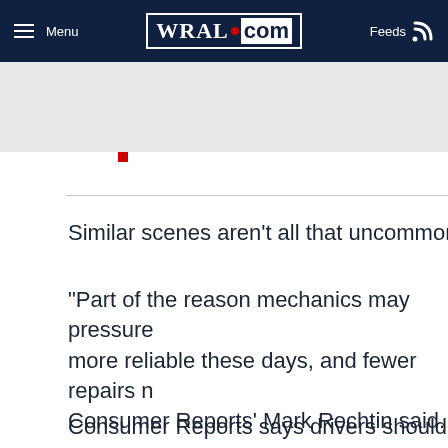Menu | WRAL.com | Feeds
Similar scenes aren't all that uncommon at ga
"Part of the reason mechanics may pressure more reliable these days, and fewer repairs n Consumer Reports' Mark Rechtin said.
Consumer Reports says drivers should be on